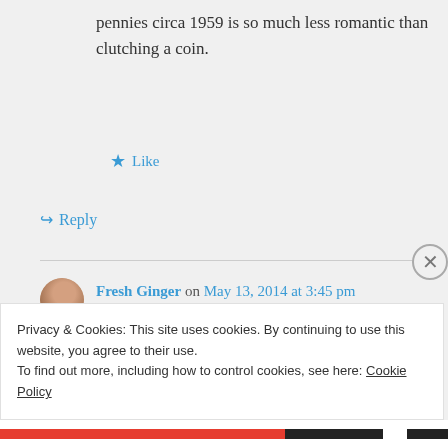pennies circa 1959 is so much less romantic than clutching a coin.
★ Like
↪ Reply
Fresh Ginger on May 13, 2014 at 3:45 pm
I see a future in plumbing for you.

Lame Adventure #475
Privacy & Cookies: This site uses cookies. By continuing to use this website, you agree to their use.
To find out more, including how to control cookies, see here: Cookie Policy
Close and accept